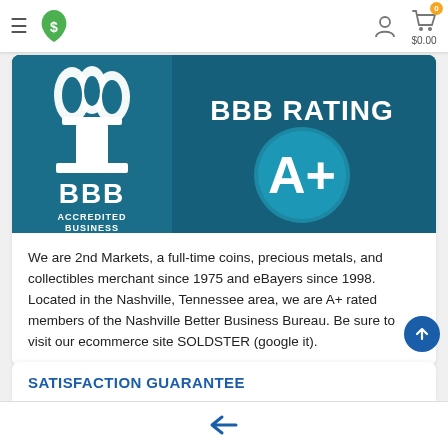2nd Markets logo navigation — hamburger menu, logo, user icon, cart ($0.00)
[Figure (logo): BBB Accredited Business A+ Rating badge — teal/dark-blue background with BBB torch logo on left and 'BBB RATING A+' on right inside a circle]
We are 2nd Markets, a full-time coins, precious metals, and collectibles merchant since 1975 and eBayers since 1998. Located in the Nashville, Tennessee area, we are A+ rated members of the Nashville Better Business Bureau. Be sure to visit our ecommerce site SOLDSTER (google it).
SATISFACTION GUARANTEE
← (back navigation arrow)